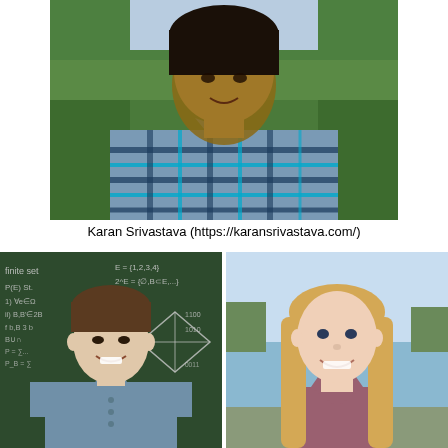[Figure (photo): Young man in blue plaid shirt standing outdoors in front of trees]
Karan Srivastava (https://karansrivastava.com/)
[Figure (photo): Young man smiling in front of a chalkboard with math/graph theory equations and diagrams]
[Figure (photo): Young woman with long blonde hair smiling outdoors near a lake]